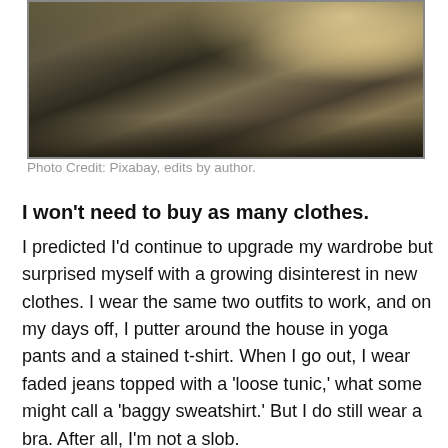[Figure (photo): Photograph of an abandoned, dilapidated room with debris on the floor, broken windows with light streaming through tattered curtains, and a radiator against the wall. A person in dark clothing is partially visible on the right.]
Photo Credit: Pixabay, edits by author.
I won't need to buy as many clothes.
I predicted I'd continue to upgrade my wardrobe but surprised myself with a growing disinterest in new clothes. I wear the same two outfits to work, and on my days off, I putter around the house in yoga pants and a stained t-shirt. When I go out, I wear faded jeans topped with a 'loose tunic,' what some might call a 'baggy sweatshirt.' But I do still wear a bra. After all, I'm not a slob.